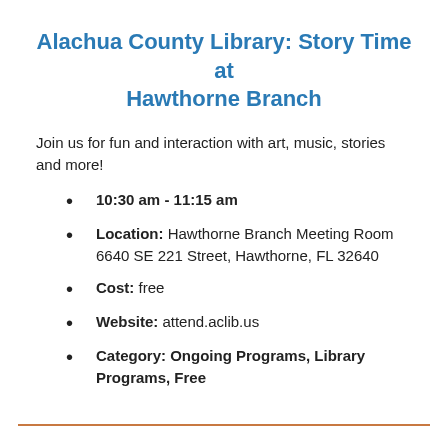Alachua County Library: Story Time at Hawthorne Branch
Join us for fun and interaction with art, music, stories and more!
10:30 am - 11:15 am
Location: Hawthorne Branch Meeting Room 6640 SE 221 Street, Hawthorne, FL 32640
Cost: free
Website: attend.aclib.us
Category: Ongoing Programs, Library Programs, Free